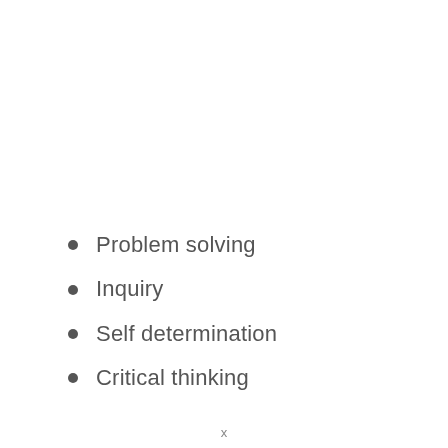Problem solving
Inquiry
Self determination
Critical thinking
x